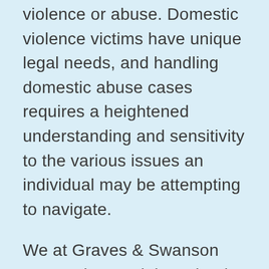violence or abuse. Domestic violence victims have unique legal needs, and handling domestic abuse cases requires a heightened understanding and sensitivity to the various issues an individual may be attempting to navigate.
We at Graves & Swanson LLC understand that what is right for one person experiencing domestic violence may not be right for all persons experiencing